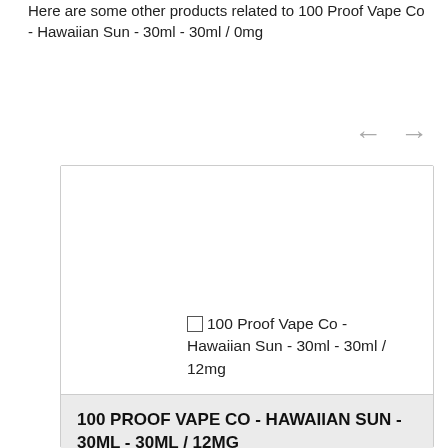Here are some other products related to 100 Proof Vape Co - Hawaiian Sun - 30ml - 30ml / 0mg
[Figure (screenshot): Navigation arrows (left and right) for a product carousel]
[Figure (screenshot): Product card showing a white image area with a checkbox and label reading '100 Proof Vape Co - Hawaiian Sun - 30ml - 30ml / 12mg', followed by a grey info area at the bottom]
100 PROOF VAPE CO - HAWAIIAN SUN - 30ML - 30ML / 12MG
100 Proof Vape Co - Hawaiian Sun - 30ml...